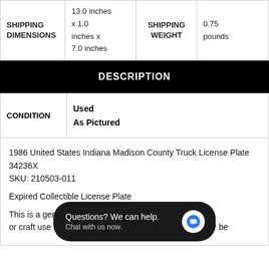| SHIPPING DIMENSIONS | 13.0 inches x 1.0 inches x 7.0 inches | SHIPPING WEIGHT | 0.75 pounds |
| --- | --- | --- | --- |
| SHIPPING DIMENSIONS | 13.0 inches
x 1.0
inches x
7.0 inches | SHIPPING WEIGHT | 0.75
pounds |
DESCRIPTION
| CONDITION | Used
As Pictured |
| --- | --- |
| CONDITION | Used
As Pictured |
1986 United States Indiana Madison County Truck License Plate 34236X
SKU: 210503-011

Expired Collectible License Plate

This is a genuine ... for collectible or craft use only. Any other use of this license plate may be